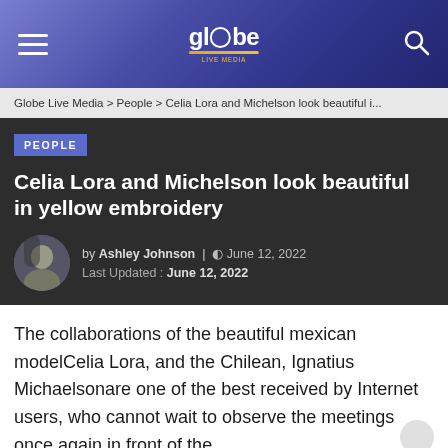Globe Live Media logo and navigation header
Globe Live Media > People > Celia Lora and Michelson look beautiful i...
PEOPLE
Celia Lora and Michelson look beautiful in yellow embroidery
by Ashley Johnson | June 12, 2022
Last Updated: June 12, 2022
The collaborations of the beautiful mexican modelCelia Lora, and the Chilean, Ignatius Michaelsonare one of the best received by Internet users, who cannot wait to observe the meetings once again in front of the